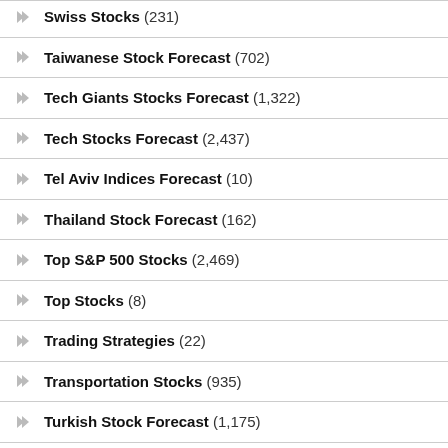Swiss Stocks (231)
Taiwanese Stock Forecast (702)
Tech Giants Stocks Forecast (1,322)
Tech Stocks Forecast (2,437)
Tel Aviv Indices Forecast (10)
Thailand Stock Forecast (162)
Top S&P 500 Stocks (2,469)
Top Stocks (8)
Trading Strategies (22)
Transportation Stocks (935)
Turkish Stock Forecast (1,175)
UK Stock Forecast (836)